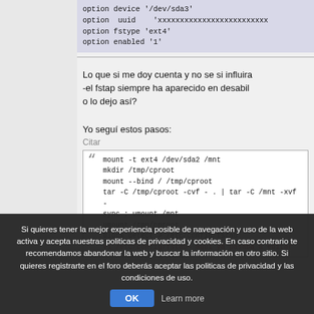[Figure (screenshot): Code block showing option device '/dev/sda3', option uuid 'xxxxxxxxxxxxxxxxxxxxxxxxx', option fstype 'ext4', option enabled '1']
Lo que si me doy cuenta y no se si influira -el fstap siempre ha aparecido en desabil o lo dejo así?
Yo seguí estos pasos:
Citar
[Figure (screenshot): Quote box with commands: mount -t ext4 /dev/sda2 /mnt, mkdir /tmp/cproot, mount --bind / /tmp/cproot, tar -C /tmp/cproot -cvf - . | tar -C /mnt -xvf -sync ; umount /mnt, umount /tmp/cproot, block detect > /etc/config/fstab, vi /etc/config/fstab— aquí ya pasaba a editar]
Si quieres tener la mejor experiencia posible de navegación y uso de la web activa y acepta nuestras politicas de privacidad y cookies. En caso contrario te recomendamos abandonar la web y buscar la información en otro sitio. Si quieres registrarte en el foro deberás aceptar las politicas de privacidad y las condiciones de uso.
OK   Learn more